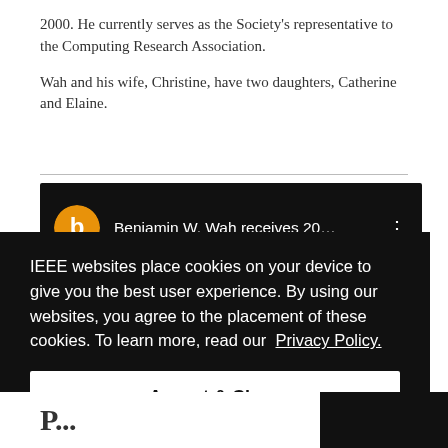2000. He currently serves as the Society's representative to the Computing Research Association.
Wah and his wife, Christine, have two daughters, Catherine and Elaine.
[Figure (screenshot): Video thumbnail on dark background showing IEEE logo (orange circle with white 'b' symbol) and title text 'Benjamin W. Wah receives 20...' with three-dot menu icon]
[Figure (screenshot): Cookie consent overlay on black background reading: 'IEEE websites place cookies on your device to give you the best user experience. By using our websites, you agree to the placement of these cookies. To learn more, read our Privacy Policy.' with an 'Accept & Close' button below.]
P...